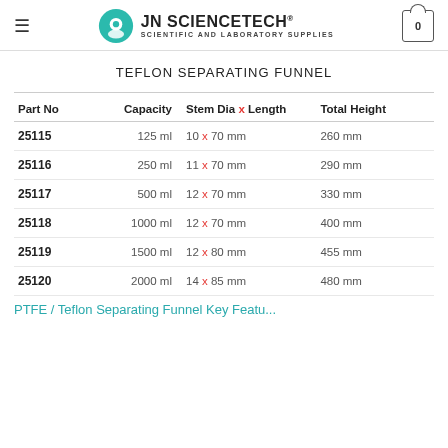JN SCIENCETECH® Scientific and Laboratory Supplies
TEFLON SEPARATING FUNNEL
| Part No | Capacity | Stem Dia x Length | Total Height |
| --- | --- | --- | --- |
| 25115 | 125 ml | 10 x 70 mm | 260 mm |
| 25116 | 250 ml | 11 x 70 mm | 290 mm |
| 25117 | 500 ml | 12 x 70 mm | 330 mm |
| 25118 | 1000 ml | 12 x 70 mm | 400 mm |
| 25119 | 1500 ml | 12 x 80 mm | 455 mm |
| 25120 | 2000 ml | 14 x 85 mm | 480 mm |
PTFE / Teflon Separating Funnel Key Features